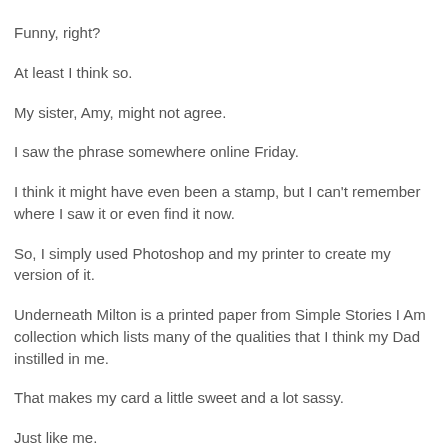Funny, right?
At least I think so.
My sister, Amy, might not agree.
I saw the phrase somewhere online Friday.
I think it might have even been a stamp, but I can't remember where I saw it or even find it now.
So, I simply used Photoshop and my printer to create my version of it.
Underneath Milton is a printed paper from Simple Stories I Am collection which lists many of the qualities that I think my Dad instilled in me.
That makes my card a little sweet and a lot sassy.
Just like me.